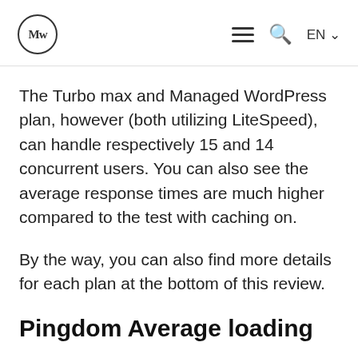Mw — hamburger menu, search, EN
The Turbo max and Managed WordPress plan, however (both utilizing LiteSpeed), can handle respectively 15 and 14 concurrent users. You can also see the average response times are much higher compared to the test with caching on.
By the way, you can also find more details for each plan at the bottom of this review.
Pingdom Average loading